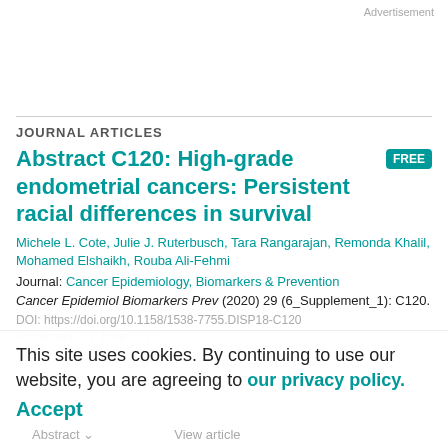Advertisement
JOURNAL ARTICLES
Abstract C120: High-grade endometrial cancers: Persistent racial differences in survival
Michele L. Cote, Julie J. Ruterbusch, Tara Rangarajan, Remonda Khalil, Mohamed Elshaikh, Rouba Ali-Fehmi
Journal: Cancer Epidemiology, Biomarkers & Prevention
Cancer Epidemiol Biomarkers Prev (2020) 29 (6_Supplement_1): C120.
DOI: https://doi.org/10.1158/1538-7755.DISP18-C120
Published: 01 June 2020
This site uses cookies. By continuing to use our website, you are agreeing to our privacy policy.
Accept